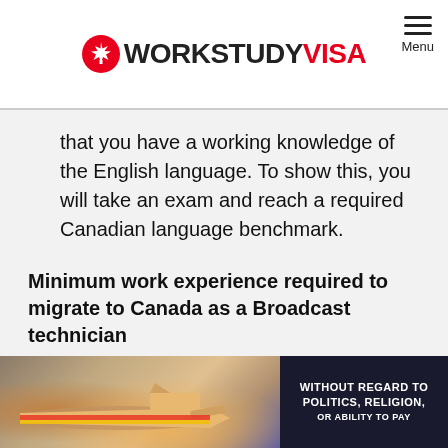WORKSTUDY VISA
that you have a working knowledge of the English language. To show this, you will take an exam and reach a required Canadian language benchmark.
Minimum work experience required to migrate to Canada as a Broadcast technician
Generally, we'll be looking for you to have at least 1 year (1,560 hours total / 30 hours + per week), continuous full-time employment or part-time equivalent within the last 10 years although ideally, we'd be looking at you having significantly more
[Figure (photo): Advertisement banner showing airplane cargo loading with text 'WITHOUT REGARD TO POLITICS, RELIGION, OR ABILITY TO PAY']